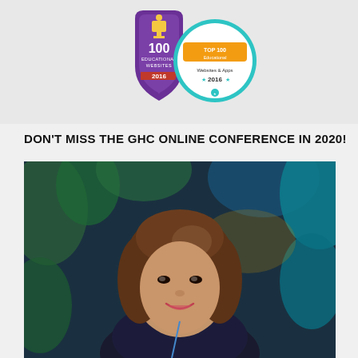[Figure (logo): Two award badges side by side: '100 Educational Websites 2016' purple shield badge on the left, and 'Top 100 Educational Websites & Apps 2016' orange/teal badge on the right]
DON'T MISS THE GHC ONLINE CONFERENCE IN 2020!
[Figure (photo): Portrait photo of a woman with short brown bob haircut, smiling, wearing a dark blazer, photographed against a blurred green foliage background with teal lighting]